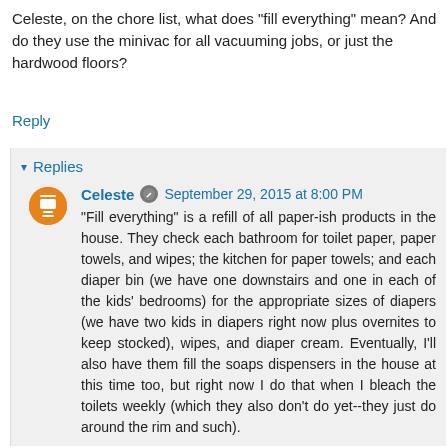Celeste, on the chore list, what does "fill everything" mean? And do they use the minivac for all vacuuming jobs, or just the hardwood floors?
Reply
Replies
Celeste  September 29, 2015 at 8:00 PM
"Fill everything" is a refill of all paper-ish products in the house. They check each bathroom for toilet paper, paper towels, and wipes; the kitchen for paper towels; and each diaper bin (we have one downstairs and one in each of the kids' bedrooms) for the appropriate sizes of diapers (we have two kids in diapers right now plus overnites to keep stocked), wipes, and diaper cream. Eventually, I'll also have them fill the soaps dispensers in the house at this time too, but right now I do that when I bleach the toilets weekly (which they also don't do yet--they just do around the rim and such).